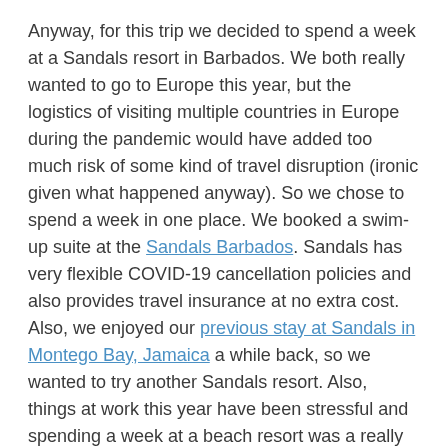Anyway, for this trip we decided to spend a week at a Sandals resort in Barbados. We both really wanted to go to Europe this year, but the logistics of visiting multiple countries in Europe during the pandemic would have added too much risk of some kind of travel disruption (ironic given what happened anyway). So we chose to spend a week in one place. We booked a swim-up suite at the Sandals Barbados. Sandals has very flexible COVID-19 cancellation policies and also provides travel insurance at no extra cost. Also, we enjoyed our previous stay at Sandals in Montego Bay, Jamaica a while back, so we wanted to try another Sandals resort. Also, things at work this year have been stressful and spending a week at a beach resort was a really appealing option. Here is how it went:
08/07 – Flights to and arrival in Barbados: Refreshingly, our flights to Barbados were uneventful, even arriving early. For entry into the country,